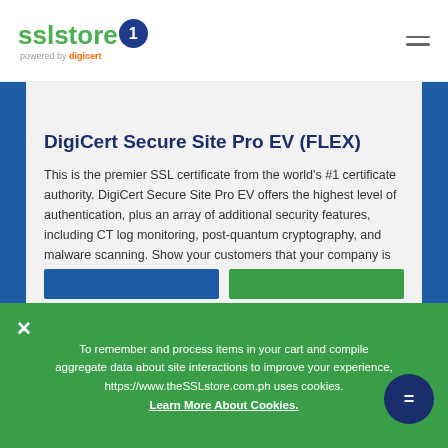[Figure (logo): SSLStore logo powered by DigiCert with padlock icon]
DigiCert Secure Site Pro EV (FLEX)
This is the premier SSL certificate from the world's #1 certificate authority. DigiCert Secure Site Pro EV offers the highest level of authentication, plus an array of additional security features, including CT log monitoring, post-quantum cryptography, and malware scanning. Show your customers that your company is their best choice if they care about data security and privacy.
LEARN MORE
Priced as low as ₱ 70,210.66/yr.
To remember and process items in your cart and compile aggregate data about site interactions to improve your experience, https://www.theSSLstore.com.ph uses cookies. Learn More About Cookies.